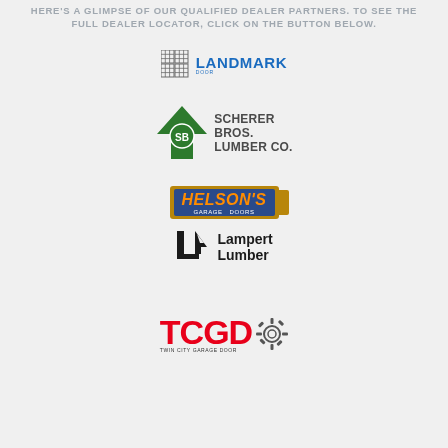HERE'S A GLIMPSE OF OUR QUALIFIED DEALER PARTNERS. TO SEE THE FULL DEALER LOCATOR, CLICK ON THE BUTTON BELOW.
[Figure (logo): Landmark Door logo — grid icon with blue text reading LANDMARK DOOR]
[Figure (logo): Scherer Bros. Lumber Co. logo — green tree/house icon with SB badge and text]
[Figure (logo): Helson's Garage Doors logo — orange italic text on dark blue background with gold border]
[Figure (logo): Lampert Lumber logo — black L-shape with triangle and text]
[Figure (logo): TCGD Twin City Garage Door logo — red bold letters with gear icon and small text below]